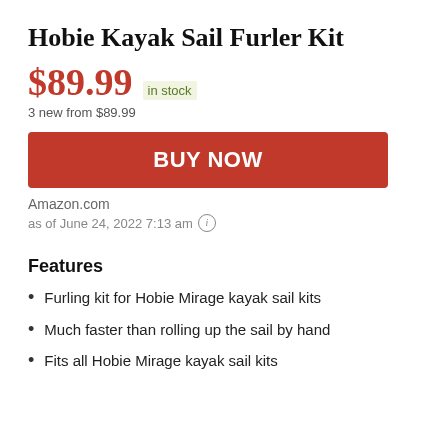Hobie Kayak Sail Furler Kit
$89.99  in stock
3 new from $89.99
BUY NOW
Amazon.com
as of June 24, 2022 7:13 am
Features
Furling kit for Hobie Mirage kayak sail kits
Much faster than rolling up the sail by hand
Fits all Hobie Mirage kayak sail kits